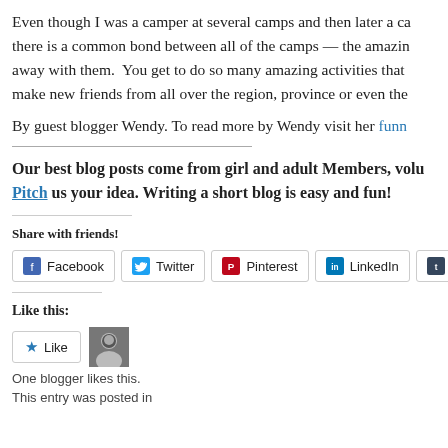Even though I was a camper at several camps and then later a ca... there is a common bond between all of the camps — the amazin... away with them. You get to do so many amazing activities that... make new friends from all over the region, province or even the...
By guest blogger Wendy. To read more by Wendy visit her funn...
Our best blog posts come from girl and adult Members, volu... Pitch us your idea. Writing a short blog is easy and fun!
Share with friends!
Facebook  Twitter  Pinterest  LinkedIn  Tumblr
Like this:
One blogger likes this.
This entry was posted in...